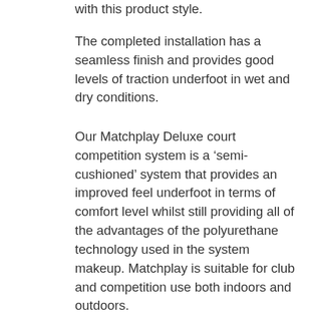with this product style.
The completed installation has a seamless finish and provides good levels of traction underfoot in wet and dry conditions.
Our Matchplay Deluxe court competition system is a ‘semi-cushioned’ system that provides an improved feel underfoot in terms of comfort level whilst still providing all of the advantages of the polyurethane technology used in the system makeup. Matchplay is suitable for club and competition use both indoors and outdoors.
Our flagship product is our Matchplay Deluxe Pro court system which has been developed as a full-cushioned system (from between 4mm to a 7mm shockpad system) which is installed directly onto the non-porous sub-base prior to the application of the sealer coat and flow coat surfacing system. This product is recognised by the ITF and has been classified as a medium-